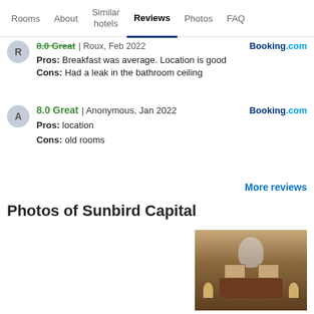Rooms | About | Similar hotels | Reviews | Photos | FAQ
8.0 Great | Roux, Feb 2022 | Booking.com | Pros: Breakfast was average. Location is good | Cons: Had a leak in the bathroom ceiling
8.0 Great | Anonymous, Jan 2022 | Booking.com | Pros: location | Cons: old rooms
More reviews
Photos of Sunbird Capital
[Figure (photo): Hotel room photo showing headboard with wall art and bedside lamps]